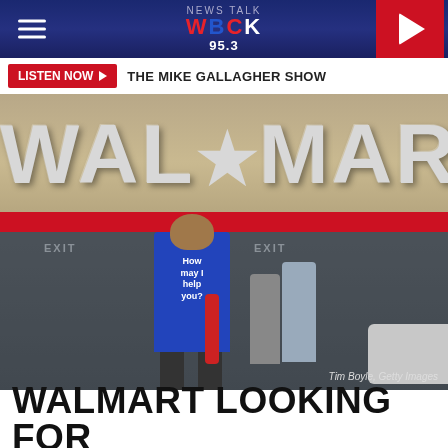WBCK 95.3
LISTEN NOW ▶  THE MIKE GALLAGHER SHOW
[Figure (photo): Walmart store exterior with large WAL★MART sign and a Walmart employee in a blue vest reading 'How may I help you?' walking toward the entrance, with customers behind. Photo credit: Tim Boyle, Getty Images]
WALMART LOOKING FOR